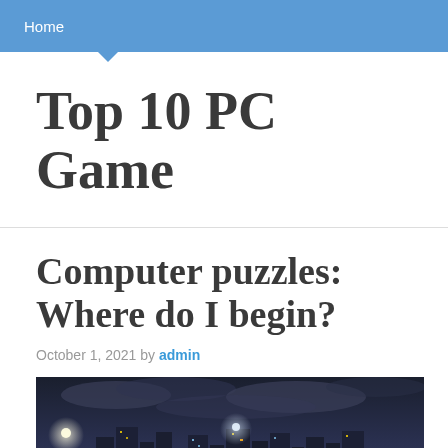Home
Top 10 PC Game
Computer puzzles: Where do I begin?
October 1, 2021 by admin
[Figure (photo): Night cityscape with illuminated skyscrapers under a dramatic cloudy sky, with bright streetlights visible in the foreground.]